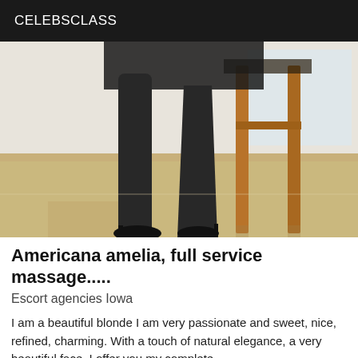CELEBSCLASS
[Figure (photo): Photo showing woman's legs in black stockings and high heels standing next to a wooden bar stool on a light wood floor]
Americana amelia, full service massage.....
Escort agencies Iowa
I am a beautiful blonde I am very passionate and sweet, nice, refined, charming. With a touch of natural elegance, a very beautiful face. I offer you my complete